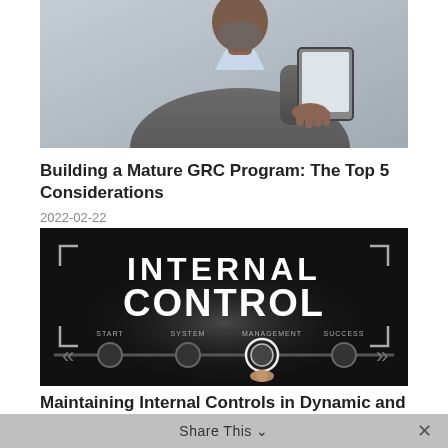[Figure (photo): A businessman in a suit holding and looking at a tablet device, cropped to show upper body and hands]
Building a Mature GRC Program: The Top 5 Considerations
2022-02-22
[Figure (photo): Dark background image showing the text INTERNAL CONTROL in large white letters with a timeline showing START, SYSTEM, MANAGEMENT, SUCCESS nodes and a finger pressing a glowing button in the center]
Share This
Maintaining Internal Controls in Dynamic and